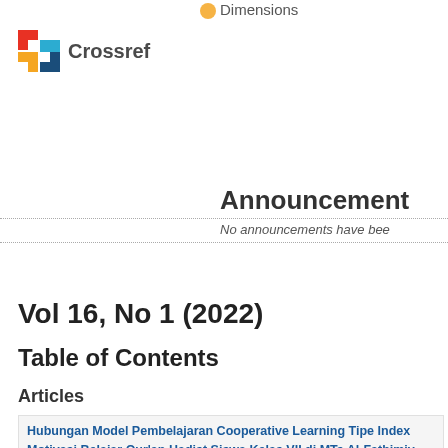[Figure (logo): Dimensions logo partial text at top of page]
[Figure (logo): Crossref logo with colored arrow icon and bold Crossref text]
Announcement
No announcements have bee
Vol 16, No 1 (2022)
Table of Contents
Articles
Hubungan Model Pembelajaran Cooperative Learning Tipe Index Motivasi Belajar Qur'an Hadist Siswa Kelas VII di MTs Al-Fathimiy